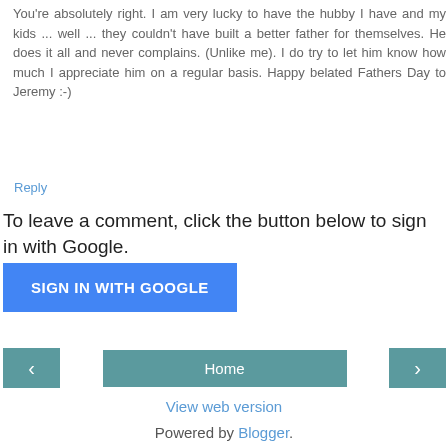You're absolutely right. I am very lucky to have the hubby I have and my kids ... well ... they couldn't have built a better father for themselves. He does it all and never complains. (Unlike me). I do try to let him know how much I appreciate him on a regular basis. Happy belated Fathers Day to Jeremy :-)
Reply
To leave a comment, click the button below to sign in with Google.
[Figure (other): SIGN IN WITH GOOGLE button (blue)]
[Figure (other): Navigation bar with left arrow, Home button, and right arrow]
View web version
Powered by Blogger.